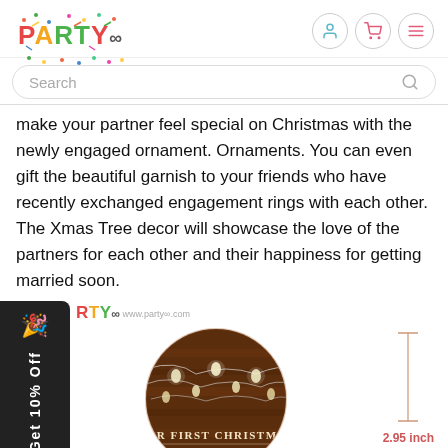PARTY∞  [search bar]  [user icon] [cart icon] [menu icon]
make your partner feel special on Christmas with the newly engaged ornament. Ornaments. You can even gift the beautiful garnish to your friends who have recently exchanged engagement rings with each other. The Xmas Tree decor will showcase the love of the partners for each other and their happiness for getting married soon.
[Figure (photo): A round ornament with dark wood background and string lights, text reads OUR FIRST CHRISTMAS, alongside a dimension indicator showing 2.95 inch and a Party∞ logo and Get 10% Off promo tab on the left side.]